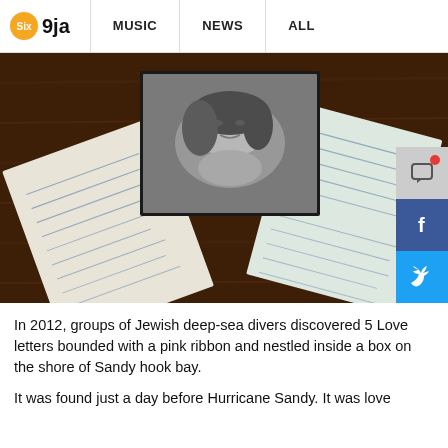Six 9ja  MUSIC  NEWS  ALL
[Figure (photo): Photograph of handwritten love letters spread out on a wooden table with a black-and-white portrait photo of a woman resting her head on her hands placed on top. The letters are written in cursive on white/cream paper.]
In 2012, groups of Jewish deep-sea divers discovered 5 Love letters bounded with a pink ribbon and nestled inside a box on the shore of Sandy hook bay.
It was found just a day before Hurricane Sandy. It was love